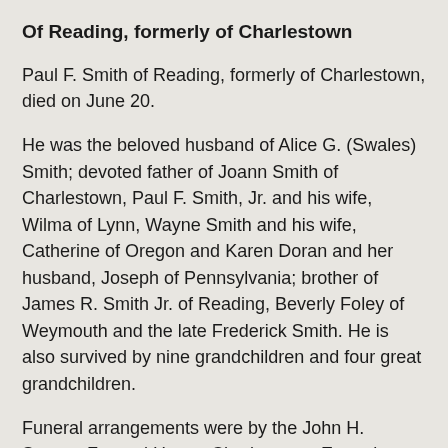Of Reading, formerly of Charlestown
Paul F. Smith of Reading, formerly of Charlestown, died on June 20.
He was the beloved husband of Alice G. (Swales) Smith; devoted father of Joann Smith of Charlestown, Paul F. Smith, Jr. and his wife, Wilma of Lynn, Wayne Smith and his wife, Catherine of Oregon and Karen Doran and her husband, Joseph of Pennsylvania; brother of James R. Smith Jr. of Reading, Beverly Foley of Weymouth and the late Frederick Smith. He is also survived by nine grandchildren and four great grandchildren.
Funeral arrangements were by the John H. Sawyer Funeral Home, Charlestown. Entombment was in Holy Cross Mausoleum, Malden. In lieu of flowers,